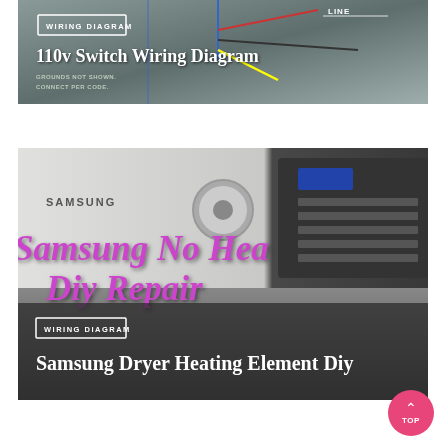[Figure (schematic): Wiring diagram thumbnail image showing 110v Switch Wiring Diagram with colored wires on gray background, with WIRING DIAGRAM badge and title overlay]
[Figure (photo): Photo of Samsung front-load dryer with overlay text 'Samsung No Hea' and 'Div Repair' in purple/magenta italic text, plus WIRING DIAGRAM badge and title 'Samsung Dryer Heating Element Diy']